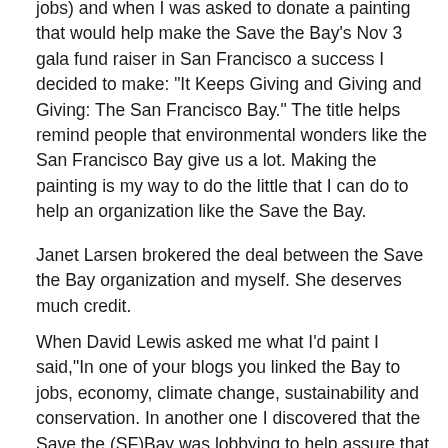jobs) and when I was asked to donate a painting that would help make the Save the Bay's Nov 3 gala fund raiser in San Francisco a success I decided to make: “It Keeps Giving and Giving and Giving: The San Francisco Bay.” The title helps remind people that environmental wonders like the San Francisco Bay give us a lot. Making the painting is my way to do the little that I can do to help an organization like the Save the Bay.
Janet Larsen brokered the deal between the Save the Bay organization and myself. She deserves much credit.
When David Lewis asked me what I’d paint I said,“In one of your blogs you linked the Bay to jobs, economy, climate change, sustainability and conservation. In another one I discovered that the Save the (SF)Bay was lobbying to help assure that as San Francisco gets ready for the America’s Cup that those preparations contribute to the sustainability